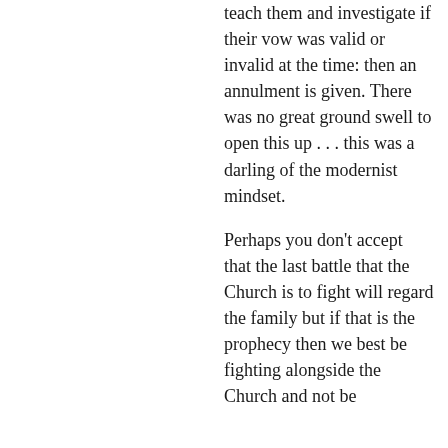teach them and investigate if their vow was valid or invalid at the time: then an annulment is given. There was no great ground swell to open this up . . . this was a darling of the modernist mindset.
Perhaps you don't accept that the last battle that the Church is to fight will regard the family but if that is the prophecy then we best be fighting alongside the Church and not be